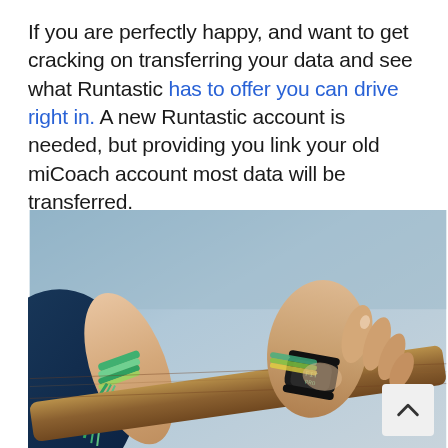If you are perfectly happy, and want to get cracking on transferring your data and see what Runtastic has to offer you can drive right in. A new Runtastic account is needed, but providing you link your old miCoach account most data will be transferred.
[Figure (photo): Close-up photo of two hands gripping a wooden bar/ballet barre. The person is wearing a dark fitness tracker/smartwatch on the right wrist, along with colorful braided bracelets on the left wrist. The person appears to be wearing a dark athletic top.]